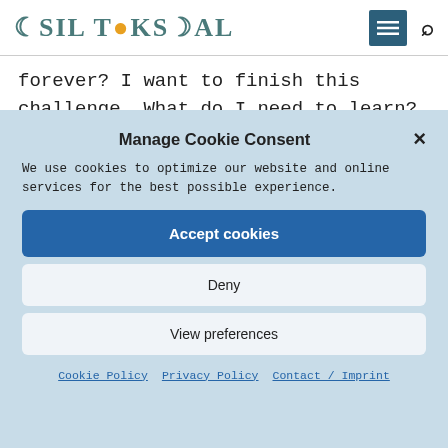ASIL TOKSAL
forever? I want to finish this challenge. What do I need to learn? Thank you so much.
Manage Cookie Consent
We use cookies to optimize our website and online services for the best possible experience.
Accept cookies
Deny
View preferences
Cookie Policy  Privacy Policy  Contact / Imprint